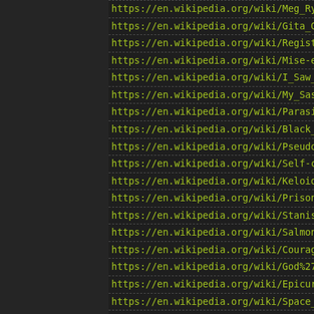https://en.wikipedia.org/wiki/Meg_Ryan
https://en.wikipedia.org/wiki/Gita_Govinda
https://en.wikipedia.org/wiki/Registrar
https://en.wikipedia.org/wiki/Mise-en-sc%0...
https://en.wikipedia.org/wiki/I_Saw_the_D...
https://en.wikipedia.org/wiki/My_Sassy_G...
https://en.wikipedia.org/wiki/Parasite_(201...
https://en.wikipedia.org/wiki/Black_Tom_e...
https://en.wikipedia.org/wiki/Pseudofollicu...
https://en.wikipedia.org/wiki/Self-cont ... _a...
https://en.wikipedia.org/wiki/Keloid
https://en.wikipedia.org/wiki/Prisoner's_dil...
https://en.wikipedia.org/wiki/Stanislavski%...
https://en.wikipedia.org/wiki/Salmon_shar...
https://en.wikipedia.org/wiki/Courageous_...
https://en.wikipedia.org/wiki/God%27s_No...
https://en.wikipedia.org/wiki/Epicureanism
https://en.wikipedia.org/wiki/Space_Jam_(
https://en.wikipedia.org/wiki/Opera
https://en.wikipedia.org/wiki/The_Magic_F...
https://en.wikipedia.org/wiki/Libretto ... ac...
https://en.wikipedia.org/wiki/Mozart_and_...
https://en.wikipedia.org/wiki/Obscurantism
https://en.wikipedia.org/wiki/Works_ins ...
https://en.wikipedia.org/wiki/List_of...